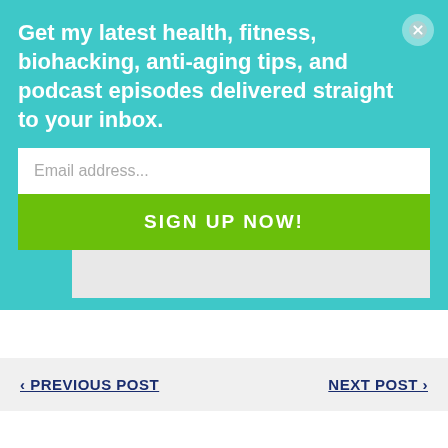Get my latest health, fitness, biohacking, anti-aging tips, and podcast episodes delivered straight to your inbox.
Email address...
SIGN UP NOW!
‹ PREVIOUS POST
NEXT POST ›
9 THOUGHTS ON "#309: IS A LOW HEART RATE BAD, CHAGA TEA,